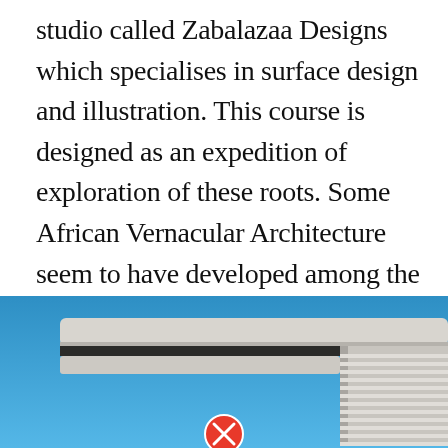studio called Zabalazaa Designs which specialises in surface design and illustration. This course is designed as an expedition of exploration of these roots. Some African Vernacular Architecture seem to have developed among the proto-ethnolinguistic groups–Afroasiatic Nilo-Saharan Niger-Congo and Khoisan groups.
[Figure (photo): Photograph of an architectural structure with a cantilevered concrete overhang against a bright blue sky, showing modernist African architecture details including horizontal brise-soleil fins.]